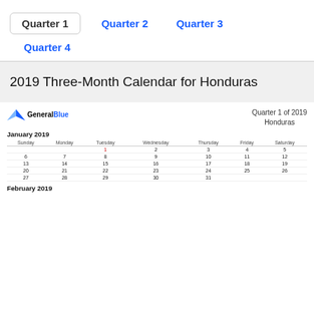Quarter 1
Quarter 2
Quarter 3
Quarter 4
2019 Three-Month Calendar for Honduras
[Figure (other): General Blue logo with blue triangle/arrow icon]
Quarter 1 of 2019
Honduras
| Sunday | Monday | Tuesday | Wednesday | Thursday | Friday | Saturday |
| --- | --- | --- | --- | --- | --- | --- |
|  |  | 1 | 2 | 3 | 4 | 5 |
| 6 | 7 | 8 | 9 | 10 | 11 | 12 |
| 13 | 14 | 15 | 16 | 17 | 18 | 19 |
| 20 | 21 | 22 | 23 | 24 | 25 | 26 |
| 27 | 28 | 29 | 30 | 31 |  |  |
February 2019